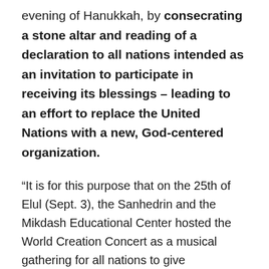evening of Hanukkah, by consecrating a stone altar and reading of a declaration to all nations intended as an invitation to participate in receiving its blessings – leading to an effort to replace the United Nations with a new, God-centered organization.
“It is for this purpose that on the 25th of Elul (Sept. 3), the Sanhedrin and the Mikdash Educational Center hosted the World Creation Concert as a musical gathering for all nations to give thanksgiving to the creator, to share with all mankind the